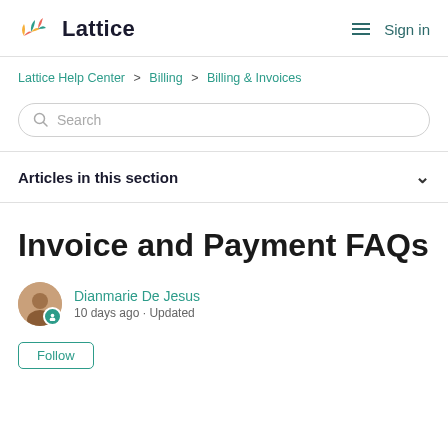Lattice  Sign in
Lattice Help Center > Billing > Billing & Invoices
Search
Articles in this section
Invoice and Payment FAQs
Dianmarie De Jesus
10 days ago · Updated
Follow